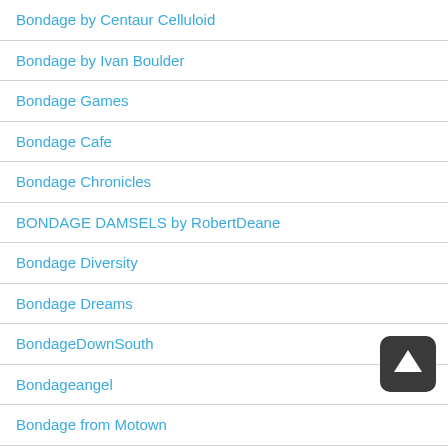Bondage by Centaur Celluloid
Bondage by Ivan Boulder
Bondage Games
Bondage Cafe
Bondage Chronicles
BONDAGE DAMSELS by RobertDeane
Bondage Diversity
Bondage Dreams
BondageDownSouth
Bondageangel
Bondage from Motown
Bondage HD Vids by Limited Audience
[Figure (illustration): Dark rounded square button with white upward arrow icon (scroll to top button)]